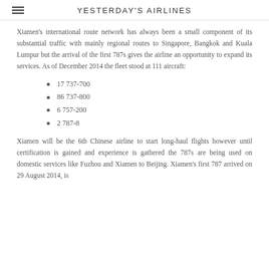YESTERDAY'S AIRLINES
Xiamen's international route network has always been a small component of its substantial traffic with mainly regional routes to Singapore, Bangkok and Kuala Lumpur but the arrival of the first 787s gives the airline an opportunity to expand its services. As of December 2014 the fleet stood at 111 aircraft:
17 737-700
86 737-800
6 757-200
2 787-8
Xiamen will be the 6th Chinese airline to start long-haul flights however until certification is gained and experience is gathered the 787s are being used on domestic services like Fuzhou and Xiamen to Beijing. Xiamen's first 787 arrived on 29 August 2014, is